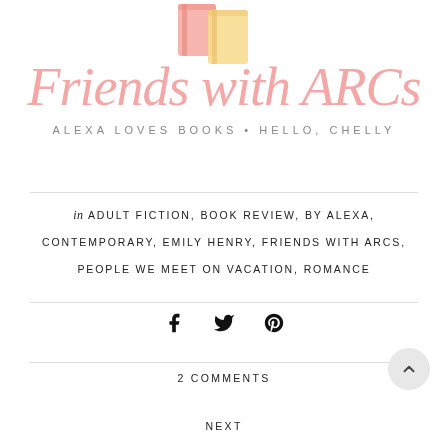[Figure (logo): Friends with ARCs blog logo with watercolor books illustration in pink and yellow, subtitle reads ALEXA LOVES BOOKS • HELLO, CHELLY]
in ADULT FICTION, BOOK REVIEW, BY ALEXA, CONTEMPORARY, EMILY HENRY, FRIENDS WITH ARCS, PEOPLE WE MEET ON VACATION, ROMANCE
[Figure (other): Social media share icons: Facebook, Twitter, Pinterest]
2 COMMENTS
NEXT